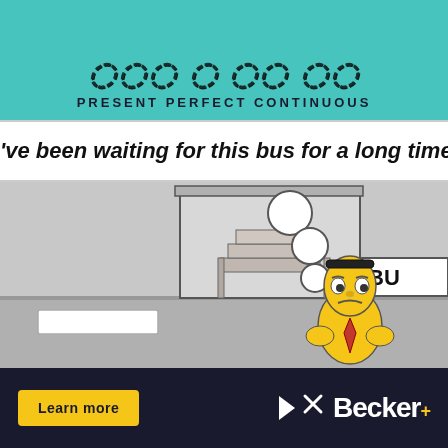PRESENT PERFECT CONTINUOUS
've been waiting for this bus for a long time
[Figure (illustration): Cartoon illustration of a man in a yellow suit with a red tie standing at a bus stop with a frustrated/sad expression. Behind him is a bus stop structure with stairs. A sign partially reads 'BU'. There is a white rectangular object (possibly a sign or crosswalk marking) on the ground to the left. The background is grey, depicting a street scene.]
[Figure (other): Advertisement banner with dark navy background. Left side shows a yellow 'Learn more' button. Center-right shows a play icon and 'X' icon. Right side shows 'Becker.' brand name in white bold text.]